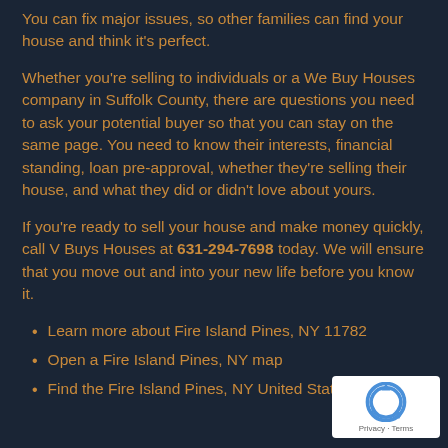You can fix major issues, so other families can find your house and think it’s perfect.
Whether you’re selling to individuals or a We Buy Houses company in Suffolk County, there are questions you need to ask your potential buyer so that you can stay on the same page. You need to know their interests, financial standing, loan pre-approval, whether they’re selling their house, and what they did or didn’t love about yours.
If you’re ready to sell your house and make money quickly, call V Buys Houses at 631-294-7698 today. We will ensure that you move out and into your new life before you know it.
Learn more about Fire Island Pines, NY 11782
Open a Fire Island Pines, NY map
Find the Fire Island Pines, NY United States